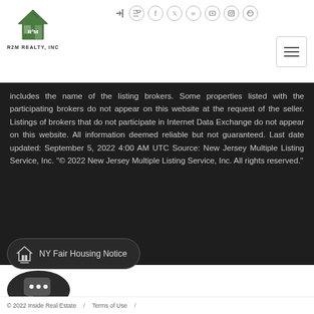[Figure (logo): R2M Realty Inc logo — green house icon with R2M text, company name below]
[Figure (screenshot): Social media navigation icons: login, email, facebook, twitter, linkedin, youtube, instagram, pinterest]
[Figure (other): Hamburger menu button (three horizontal lines)]
includes the name of the listing brokers. Some properties listed with the participating brokers do not appear on this website at the request of the seller. Listings of brokers that do not participate in Internet Data Exchange do not appear on this website. All information deemed reliable but not guaranteed. Last date updated: September 5, 2022 4:00 AM UTC Source: New Jersey Multiple Listing Service, Inc. "© 2022 New Jersey Multiple Listing Service, Inc. All rights reserved."
NY Fair Housing Notice
[Figure (illustration): Chat bubble icon with three dots indicating messaging]
© 2022 Inside Real Estate  /  Terms of Use  /